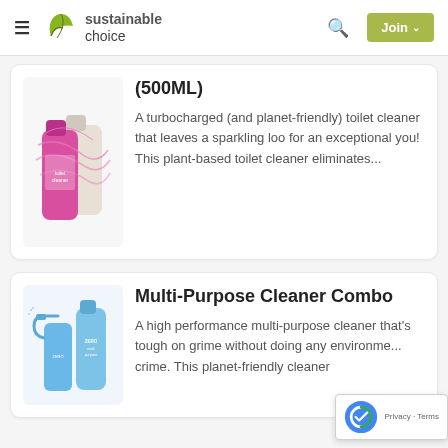sustainable choice
[Figure (photo): Pink/magenta cleaning bottle with decorative wrapping and a cream-colored bottle, product image for toilet cleaner 500ML]
(500ML)
A turbocharged (and planet-friendly) toilet cleaner that leaves a sparkling loo for an exceptional you! This plant-based toilet cleaner eliminates...
[Figure (photo): Blue spray bottle and blue pump bottle, product image for Multi-Purpose Cleaner Combo]
Multi-Purpose Cleaner Combo
A high performance multi-purpose cleaner that's tough on grime without doing any environme... crime. This planet-friendly cleaner